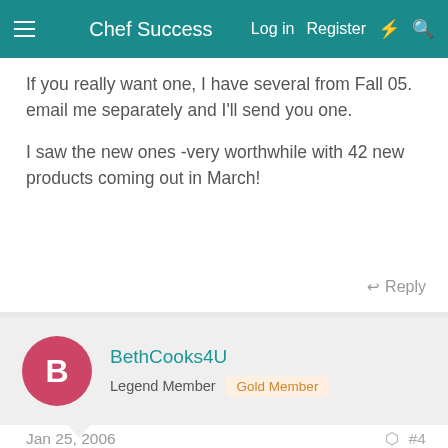Chef Success  Log in  Register
If you really want one, I have several from Fall 05. email me separately and I'll send you one.
I saw the new ones -very worthwhile with 42 new products coming out in March!
Reply
BethCooks4U
Legend Member  Gold Member
Jan 25, 2006  #4
You will get a sample of the mini catalog in your